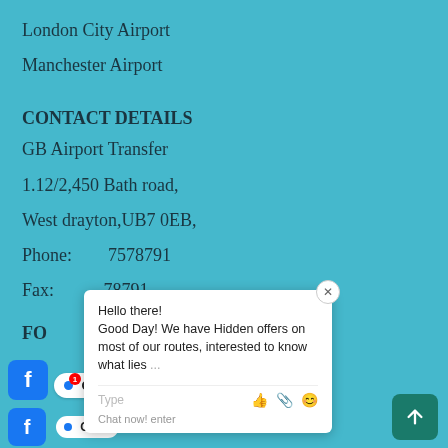London City Airport
Manchester Airport
CONTACT DETAILS
GB Airport Transfer
1.12/2,450 Bath road,
West drayton,UB7 0EB,
Phone: ...7578791
Fax: ...78791
FO...
[Figure (screenshot): Chat popup overlay with message: Hello there! Good Day! We have Hidden offers on most of our routes, interested to know what lies... with Type input bar and emoji/attachment icons, and a close button.]
Facebook
[Figure (screenshot): Bottom UI bar with Facebook icon, Chat button with notification badge showing 1, and a scroll-to-top teal button with arrow icon.]